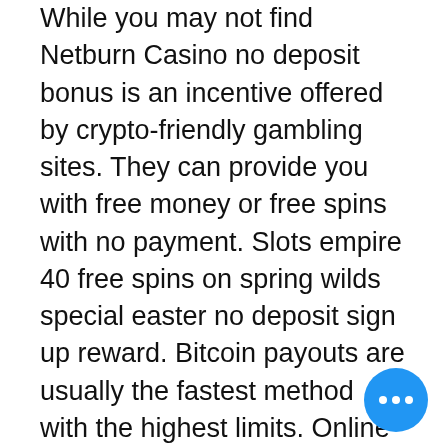While you may not find Netburn Casino no deposit bonus is an incentive offered by crypto-friendly gambling sites. They can provide you with free money or free spins with no payment. Slots empire 40 free spins on spring wilds special easter no deposit sign up reward. Bitcoin payouts are usually the fastest method with the highest limits. Online casinos accept bitcoin. We suggest numerous crypto sites for usa players above. Let us now understand why is wagering via bitcoin slowly becoming a trend at most of the online casinos! what is a bitcoin casino bonus? a bitcoin casino bonus. A no-deposit bonus is a rare bonus offered by crypto and bitcoin casinos. To help traders earn more cryptocurrency, leading crypto derivatives exchange bexplus has launched a 100% deposit bonus
However, promos such as the Weekly do require a bonus code. Ignition Casino operates as a licensed casino without any